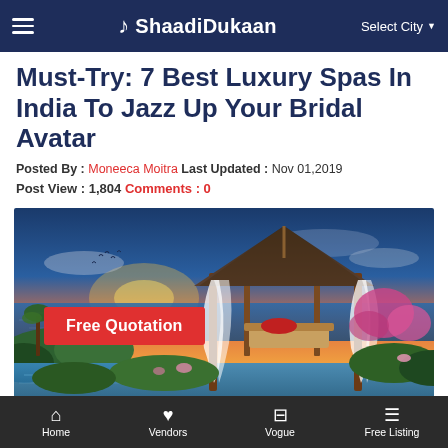ShaadiDukaan — Select City
Must-Try: 7 Best Luxury Spas In India To Jazz Up Your Bridal Avatar
Posted By : Moneeca Moitra Last Updated : Nov 01,2019
Post View : 1,804 Comments : 0
[Figure (photo): Luxury spa gazebo with white drapes, flowers, and an infinity pool overlooking the sea at sunset with a dramatic sky and birds flying]
Home | Vendors | Vogue | Free Listing